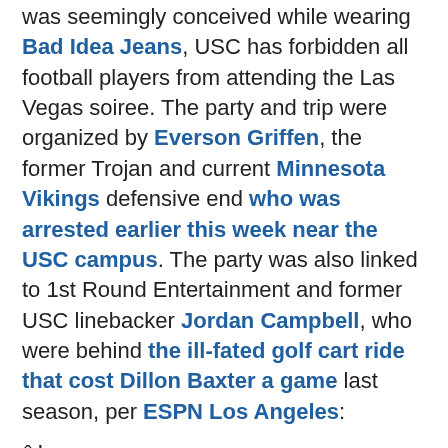was seemingly conceived while wearing Bad Idea Jeans, USC has forbidden all football players from attending the Las Vegas soiree. The party and trip were organized by Everson Griffen, the former Trojan and current Minnesota Vikings defensive end who was arrested earlier this week near the USC campus. The party was also linked to 1st Round Entertainment and former USC linebacker Jordan Campbell, who were behind the ill-fated golf cart ride that cost Dillon Baxter a game last season, per ESPN Los Angeles:
â†µ
â†µ
"Because of the NCAA rules concerning gambling, impermissible extra benefits and the conduct of